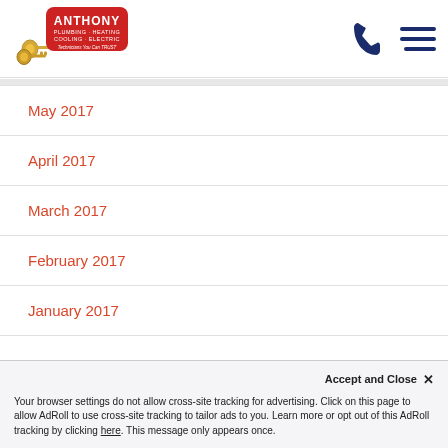[Figure (logo): Anthony Plumbing Heating Cooling Electric logo with keys and red badge]
May 2017
April 2017
March 2017
February 2017
January 2017
December 2016
November 2016
Accept and Close ✕
Your browser settings do not allow cross-site tracking for advertising. Click on this page to allow AdRoll to use cross-site tracking to tailor ads to you. Learn more or opt out of this AdRoll tracking by clicking here. This message only appears once.